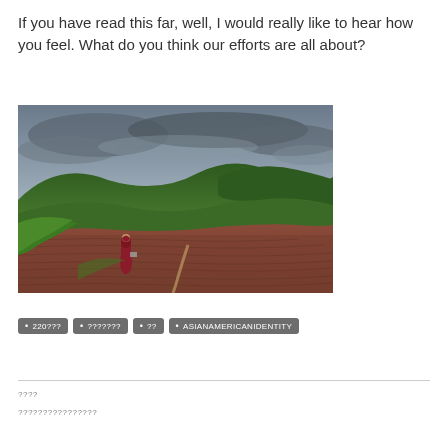If you have read this far, well, I would really like to hear how you feel. What do you think our efforts are all about?
[Figure (photo): A person in red robes standing on a hillside overlooking a vast sprawling settlement or monastery town with green hills and dramatic cloudy sky in the background.]
• 220??? • ??????? • ?? • ASIANAMERICANIDENTITY
????
????????????????